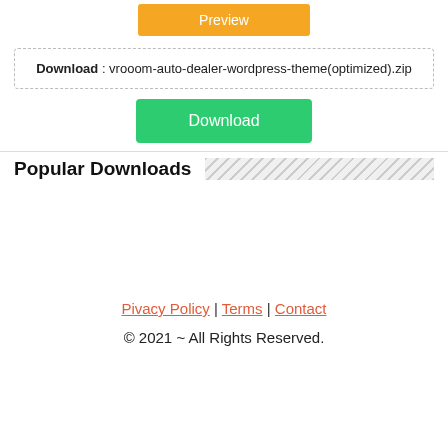[Figure (other): Yellow 'Preview' button at top center]
Download : vrooom-auto-dealer-wordpress-theme(optimized).zip
[Figure (other): Green 'Download' button]
Popular Downloads
Pivacy Policy | Terms | Contact
© 2021 ~ All Rights Reserved.